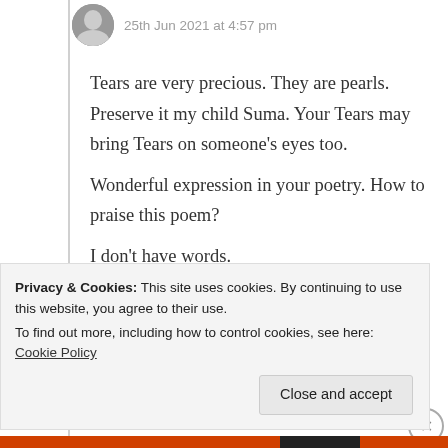25th Jun 2021 at 4:57 pm
Tears are very precious. They are pearls. Preserve it my child Suma. Your Tears may bring Tears on someone’s eyes too.

Wonderful expression in your poetry. How to praise this poem?
I don’t have words.
Stay safe and blessed.
Liked by 6 people
Privacy & Cookies: This site uses cookies. By continuing to use this website, you agree to their use.
To find out more, including how to control cookies, see here: Cookie Policy
Close and accept